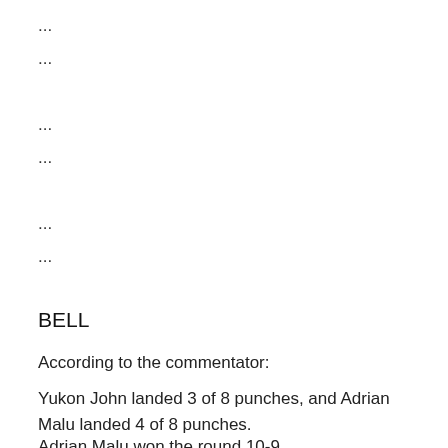...
...
...
...
...
...
BELL
According to the commentator:
Yukon John landed 3 of 8 punches, and Adrian Malu landed 4 of 8 punches.
Adrian Malu won the round 10-9